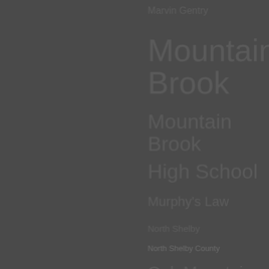Marvin Gentry
Mountain Brook
Mountain Brook High School
Murphy's Law
North Shelby
North Shelby County
Oak Mountain High School
Robin E. Coon...